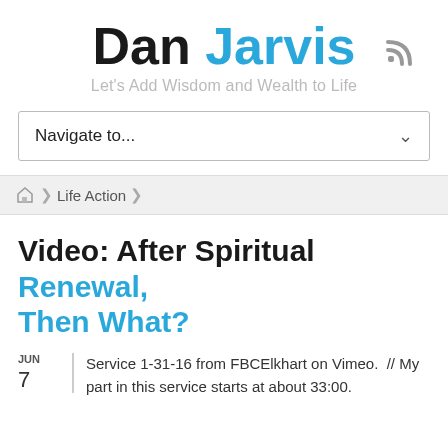Dan Jarvis
Let's Add Wisdom and Wealth to Life
Navigate to...
Home > Life Action
Video: After Spiritual Renewal, Then What?
JUN 7  Service 1-31-16 from FBCElkhart on Vimeo.  // My part in this service starts at about 33:00.